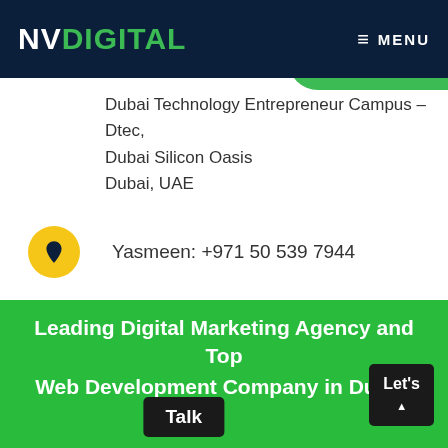NV DIGITAL — MENU
Dubai Technology Entrepreneur Campus – Dtec, Dubai Silicon Oasis
Dubai, UAE
Yasmeen: +971 50 539 7944
[Figure (photo): Cityscape photo strip showing dark angular building rooftops against a grey sky]
Leading Digital Marketing Agency and Top Web Development Company in Dubai. Let's Talk